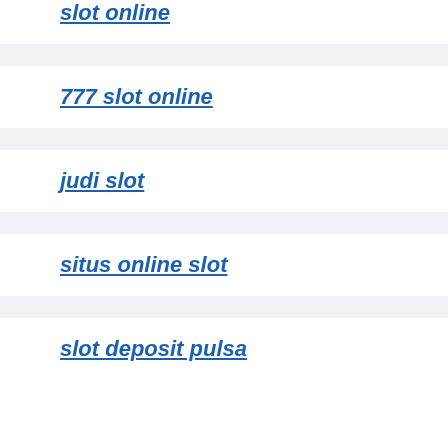slot online
777 slot online
judi slot
situs online slot
slot deposit pulsa